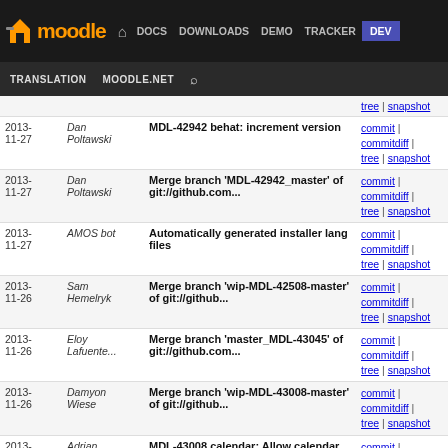Moodle navigation: DOCS | DOWNLOADS | DEMO | TRACKER | DEV (active)
TRANSLATION | MOODLE.NET | Search
| Date | Author | Message | Links |
| --- | --- | --- | --- |
| 2013-11-27 | Dan Poltawski | MDL-42942 behat: increment version | commit | commitdiff | tree | snapshot |
| 2013-11-27 | Dan Poltawski | Merge branch 'MDL-42942_master' of git://github.com... | commit | commitdiff | tree | snapshot |
| 2013-11-27 | AMOS bot | Automatically generated installer lang files | commit | commitdiff | tree | snapshot |
| 2013-11-26 | Sam Hemelryk | Merge branch 'wip-MDL-42508-master' of git://github... | commit | commitdiff | tree | snapshot |
| 2013-11-26 | Eloy Lafuente... | Merge branch 'master_MDL-43045' of git://github.com... | commit | commitdiff | tree | snapshot |
| 2013-11-26 | Damyon Wiese | Merge branch 'wip-MDL-43008-master' of git://github... | commit | commitdiff | tree | snapshot |
| 2013-11-26 | Adrian Greeve | MDL-43008 calendar: Allow calendar plugins to display... | commit | commitdiff | tree | snapshot |
| 2013-11-26 | Dan Poltawski | Merge branch 'MDL-43000' of git://github.com/timhunt... | commit | commitdiff | tree | snapshot |
| 2013-11-26 | Dan Poltawski | Merge branch 'MDL-40741_master' of git://github.com... | commit | commitdiff | tree | snapshot |
| 2013-11-26 | Dan Poltawski | Merge branch 'MDL-42851' of git://github.com/pvijaya... | commit | commitdiff |